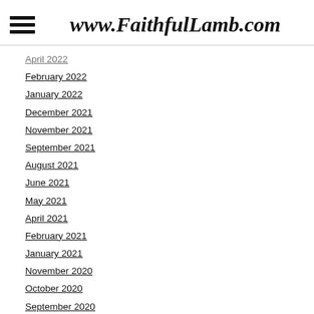www.FaithfulLamb.com
April 2022
February 2022
January 2022
December 2021
November 2021
September 2021
August 2021
June 2021
May 2021
April 2021
February 2021
January 2021
November 2020
October 2020
September 2020
August 2020
July 2020
June 2020
May 2020